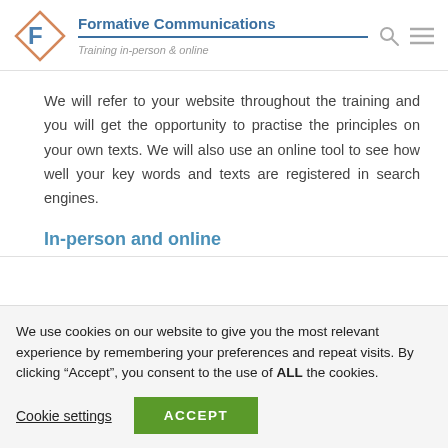Formative Communications — Training in-person & online
We will refer to your website throughout the training and you will get the opportunity to practise the principles on your own texts. We will also use an online tool to see how well your key words and texts are registered in search engines.
In-person and online
We use cookies on our website to give you the most relevant experience by remembering your preferences and repeat visits. By clicking “Accept”, you consent to the use of ALL the cookies.